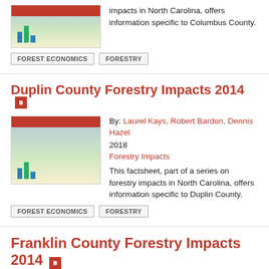impacts in North Carolina, offers information specific to Columbus County.
FOREST ECONOMICS
FORESTRY
Duplin County Forestry Impacts 2014
By: Laurel Kays, Robert Bardon, Dennis Hazel 2018
Forestry Impacts
This factsheet, part of a series on forestry impacts in North Carolina, offers information specific to Duplin County.
FOREST ECONOMICS
FORESTRY
Franklin County Forestry Impacts 2014
By: Laurel Kays, Robert Bardon, Dennis Hazel 2018